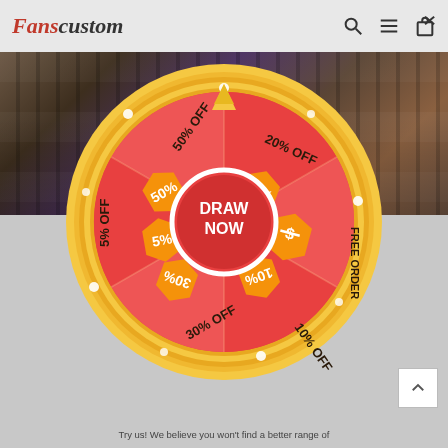[Figure (logo): Fanscustom logo in red italic serif font]
[Figure (infographic): Spin-the-wheel prize draw UI on a red circular wheel with gold border. Segments show: 50% OFF, 20% OFF, FREE ORDER, 10% OFF, 30% OFF, 5% OFF. Center button says DRAW NOW with a gold arrow pointer at top.]
form own ady roduce almost esigner's
Try us! We believe you won't find a better range of